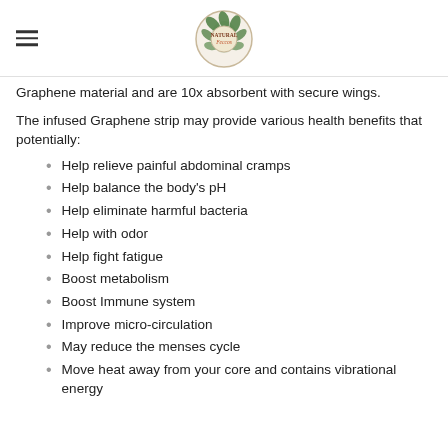Natural Feccos (logo)
Graphene material and are 10x absorbent with secure wings.
The infused Graphene strip may provide various health benefits that potentially:
Help relieve painful abdominal cramps
Help balance the body's pH
Help eliminate harmful bacteria
Help with odor
Help fight fatigue
Boost metabolism
Boost Immune system
Improve micro-circulation
May reduce the menses cycle
Move heat away from your core and contains vibrational energy